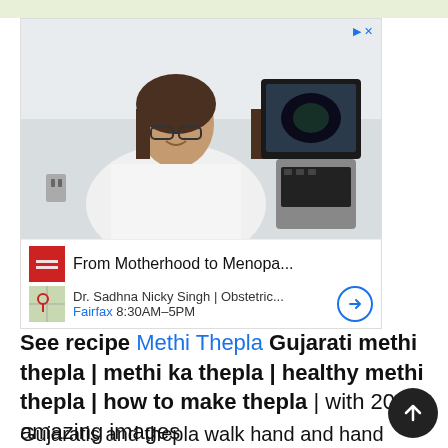[Figure (photo): Advertisement showing a female doctor in a white coat sitting at a medical ultrasound machine, smiling at camera in a clinical setting. Below the photo: 'From Motherhood to Menopa...' with a red logo box, and 'Dr. Sadhna Nicky Singh | Obstetric... Fairfax 8:30AM-5PM' with a map thumbnail and navigation button.]
See recipe Methi Thepla Gujarati methi thepla | methi ka thepla | healthy methi thepla | how to make thepla | with 20 amazing images
Gujaratis and thepla walk hand and hand